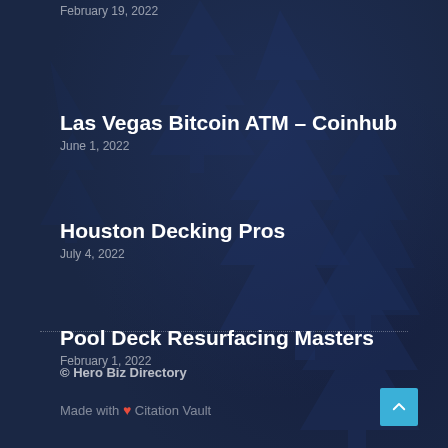February 19, 2022
Las Vegas Bitcoin ATM – Coinhub
June 1, 2022
Houston Decking Pros
July 4, 2022
Pool Deck Resurfacing Masters
February 1, 2022
© Hero Biz Directory
Made with ❤ Citation Vault